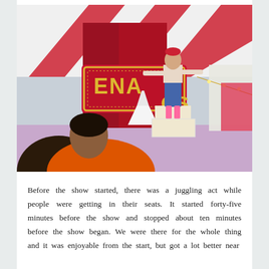[Figure (photo): A circus performer balancing on a prop on a circus stage. The performer is wearing denim overalls and has arms outstretched for balance. Behind them is a red and white striped circus tent interior with ornate red circus signage partially reading 'ENA' and 'OS'. In the foreground are audience members, including someone in an orange top. White geometric props are on the stage.]
Before the show started, there was a juggling act while people were getting in their seats. It started forty-five minutes before the show and stopped about ten minutes before the show began. We were there for the whole thing and it was enjoyable from the start, but got a lot better near